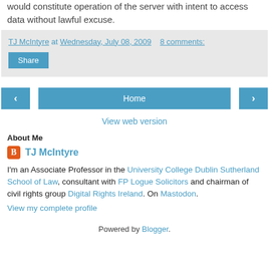would constitute operation of the server with intent to access data without lawful excuse.
TJ McIntyre at Wednesday, July 08, 2009   8 comments:
Share
Home
View web version
About Me
TJ McIntyre
I'm an Associate Professor in the University College Dublin Sutherland School of Law, consultant with FP Logue Solicitors and chairman of civil rights group Digital Rights Ireland. On Mastodon.
View my complete profile
Powered by Blogger.